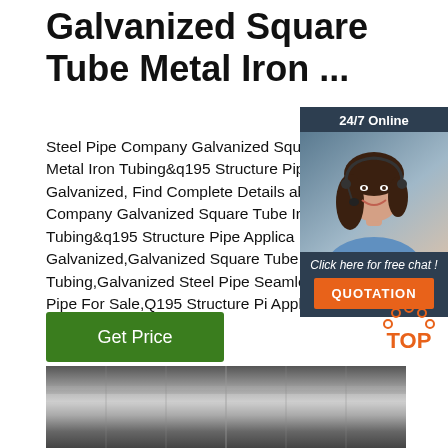Galvanized Square Tube Metal Iron ...
Steel Pipe Company Galvanized Square Tube Metal Iron Tubing&q195 Structure Pipe A Galvanized, Find Complete Details abou Pipe Company Galvanized Square Tube Iron Tubing&q195 Structure Pipe Applica Galvanized,Galvanized Square Tube Me Tubing,Galvanized Steel Pipe Seamless Square Pipe For Sale,Q195 Structure Pi Application Galvanized ...
[Figure (other): 24/7 Online chat widget with a customer service representative photo, 'Click here for free chat!' text and an orange QUOTATION button]
[Figure (other): Green Get Price button]
[Figure (other): Orange TOP scroll-to-top icon with dots arranged in an arc]
[Figure (photo): Photo of galvanized steel tube or sheet metal surface with reflective finish]